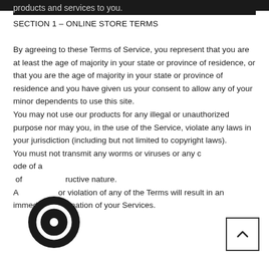products and services to you.
SECTION 1 – ONLINE STORE TERMS
By agreeing to these Terms of Service, you represent that you are at least the age of majority in your state or province of residence, or that you are the age of majority in your state or province of residence and you have given us your consent to allow any of your minor dependents to use this site.
You may not use our products for any illegal or unauthorized purpose nor may you, in the use of the Service, violate any laws in your jurisdiction (including but not limited to copyright laws).
You must not transmit any worms or viruses or any code of a destructive nature.
A breach or violation of any of the Terms will result in an immediate termination of your Services.